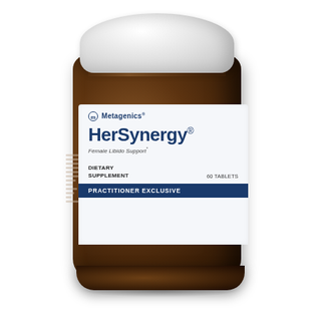[Figure (photo): A dark amber glass supplement bottle with white cap containing HerSynergy tablets by Metagenics. The label shows the Metagenics logo, product name 'HerSynergy' with trademark symbol, subtitle 'Female Libido Support*', 'DIETARY SUPPLEMENT', '60 TABLETS', and a dark blue banner reading 'PRACTITIONER EXCLUSIVE'.]